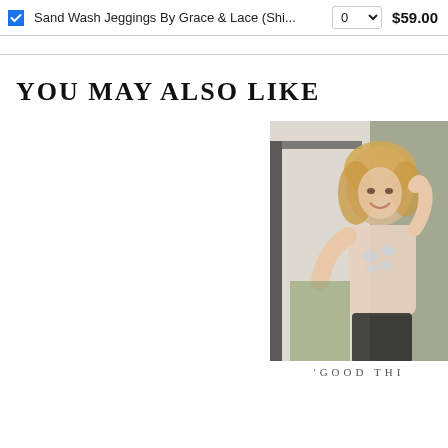Sand Wash Jeggings By Grace & Lace (Shi...  0  $59.00
YOU MAY ALSO LIKE
[Figure (photo): Partial product photo showing a smiling blonde woman wearing a light pink top with butterfly graphic print and dark pants, set against an outdoor background. Only the right portion of the image is visible.]
'GOOD THI